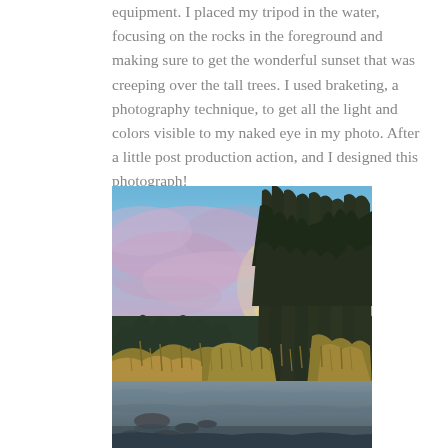equipment. I placed my tripod in the water, focusing on the rocks in the foreground and making sure to get the wonderful sunset that was creeping over the tall trees. I used braketing, a photography technique, to get all the light and colors visible to my naked eye in my photo. After a little post production action, and I designed this photograph!
[Figure (photo): Landscape photograph showing a river or pond with rocks in the foreground, tall evergreen trees on the right side, autumn-colored shrubs and grasses along the banks, and a dramatic sunset sky with pink and purple clouds over a blue sky in the background.]